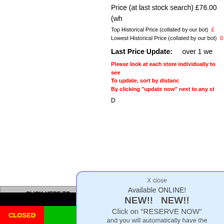Price (at last stock search) £76.00 (wh
Top Historical Price (collated by our bot) £...
Lowest Historical Price (collated by our bot) 0...
Last Price Update: over 1 we
Please look at each store individually to see...
To update, sort by distanc...
By clicking "update now" next to any st...
X close
Available ONLINE!
NEW!!   NEW!!
Click on "RESERVE NOW"
and you will automatically have the corresponding
SORT BY DISTANCE
Argos store chosen for you on the Argos website!
This will auto close in 4 seconds
Incorrect P...
BUY NO...
The Arg...
Postcode
SORT BY DISTANCE
SHOWING ALL STORES. D... WE...
| Store Name |
| --- |
| CLOSED | Prestwick Argos in Sainsburys More |
CLICK HERE TO UPDATE STOCK 5 Local Stores 5 Seconds
CLICK HERE TO UPDATE STOCK 10 Mile Radius Stores 5 Seconds
C... UPDA...